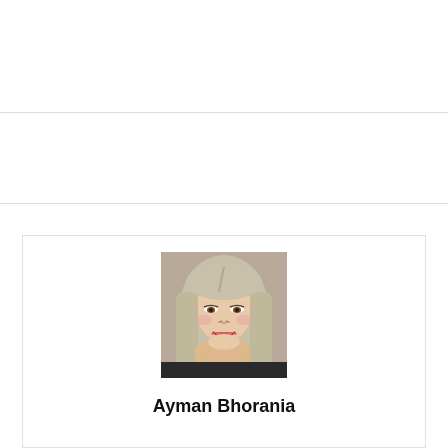[Figure (photo): Profile photo of a young woman with long light-colored hair, resting her chin on her hand, smiling slightly, wearing dark clothing.]
Ayman Bhorania